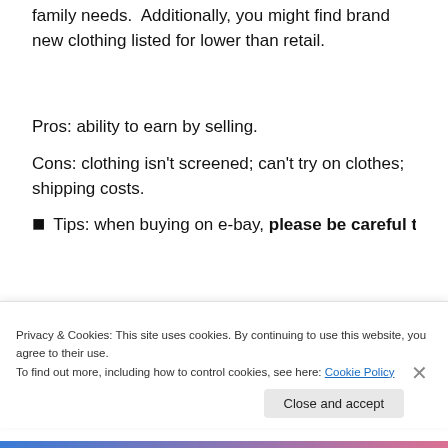family needs.  Additionally, you might find brand new clothing listed for lower than retail.
Pros: ability to earn by selling.
Cons: clothing isn't screened; can't try on clothes; shipping costs.
Tips: when buying on e-bay, please be careful to
Privacy & Cookies: This site uses cookies. By continuing to use this website, you agree to their use. To find out more, including how to control cookies, see here: Cookie Policy
Close and accept